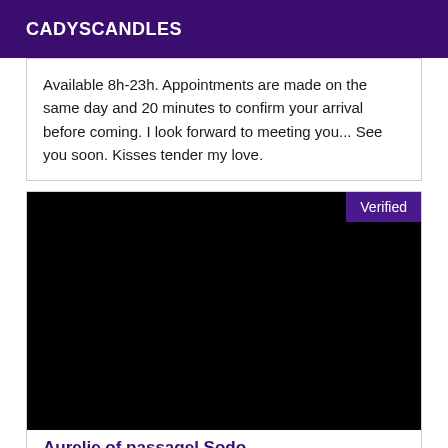CADYSCANDLES
Available 8h-23h. Appointments are made on the same day and 20 minutes to confirm your arrival before coming. I look forward to meeting you... See you soon. Kisses tender my love.
[Figure (photo): Black image with a purple 'Verified' badge in the top right corner]
Aurelie of passagel Sodo